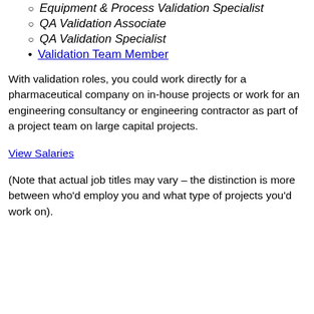Equipment & Process Validation Specialist
QA Validation Associate
QA Validation Specialist
Validation Team Member
With validation roles, you could work directly for a pharmaceutical company on in-house projects or work for an engineering consultancy or engineering contractor as part of a project team on large capital projects.
View Salaries
(Note that actual job titles may vary – the distinction is more between who'd employ you and what type of projects you'd work on).